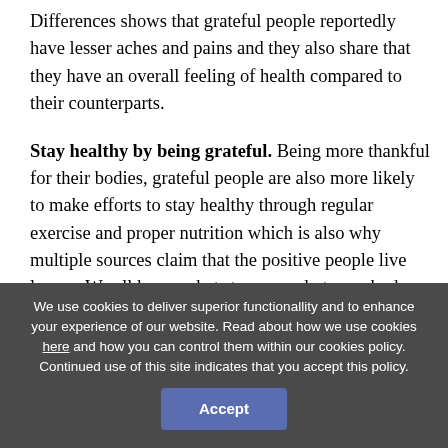Differences shows that grateful people reportedly have lesser aches and pains and they also share that they have an overall feeling of health compared to their counterparts.
Stay healthy by being grateful. Being more thankful for their bodies, grateful people are also more likely to make efforts to stay healthy through regular exercise and proper nutrition which is also why multiple sources claim that the positive people live longer. We all know what stress can do to our body. Stress is normal but too much stress can lead to a long list of problems. Doctor Robert Emmons... Through his research... confirm that gratitude
We use cookies to deliver superior functionallity and to enhance your experience of our website. Read about how we use cookies here and how you can control them within our cookies policy. Continued use of this site indicates that you accept this policy.